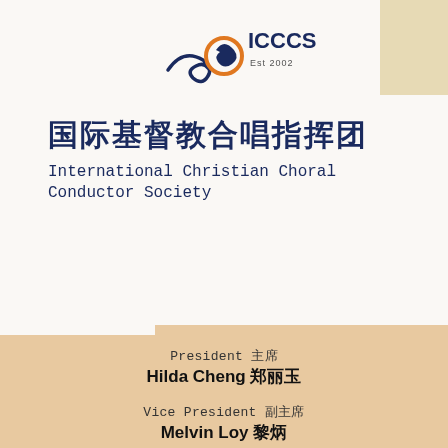[Figure (logo): ICCCS logo with swirl design in blue and orange, text 'ICCCS Est 2002']
国际基督教合唱指挥团 International Christian Choral Conductor Society
President 主席
Hilda Cheng 郑丽玉
Vice President 副主席
Melvin Loy 黎炳
Hon-Secretary 义务文书
Pauline Ang 洪慧容
Hon-Treasurer 义务财政
Tan Hui Ching 陈慧真
Ordinary Member 普通职员
Gloria Ing 吴雅芬